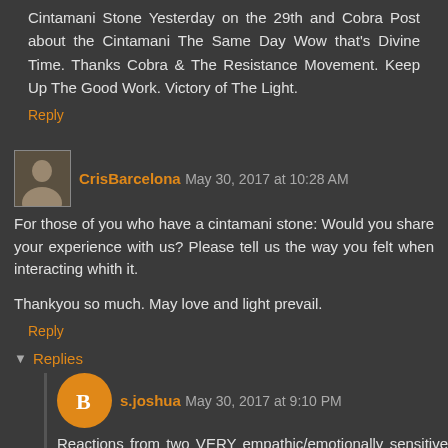Cintamani Stone Yesterday on the 29th and Cobra Post about the Cintamani The Same Day Wow that's Divine Time. Thanks Cobra & The Resistance Movement. Keep Up The Good Work. Victory of The Light.
Reply
CrisBarcelona May 30, 2017 at 10:28 AM
For those of you who have a cintamani stone: Would you share your experience with us? Please tell us the way you felt when interacting whith it.

Thankyou so much. May love and light prevail.
Reply
Replies
s.joshua May 30, 2017 at 9:10 PM
Reactions from two VERY empathic/emotionally sensitive BE-ings wearing those stones wrapped in copper wire on necklaces: